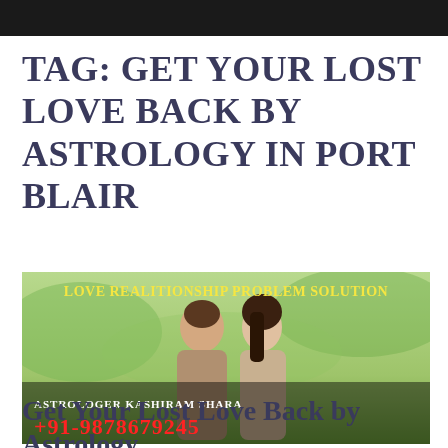TAG: GET YOUR LOST LOVE BACK BY ASTROLOGY IN PORT BLAIR
[Figure (photo): Promotional banner image showing a couple facing each other outdoors with text overlay: 'LOVE REALITIONSHIP PROBLEM SOLUTION', 'ASTROLOGER KASHIRAM SHARA', '+91-9878679245']
Get Your Lost Love Back by Astrology